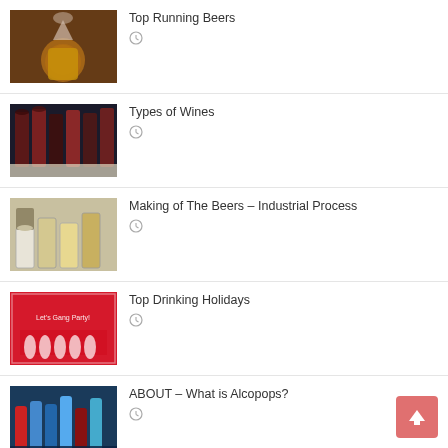Top Running Beers
Types of Wines
Making of The Beers – Industrial Process
Top Drinking Holidays
ABOUT – What is Alcopops?
Top 10 Cocktails for All Occasions
[Figure (illustration): Back to top button with upward arrow, salmon/red background]